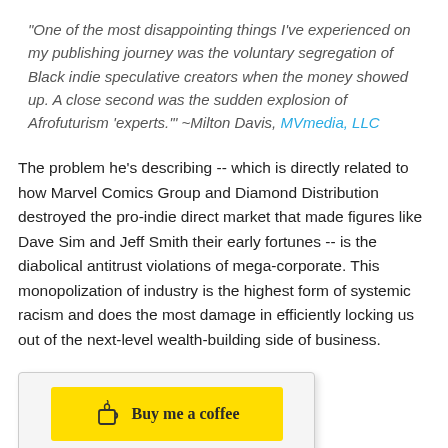"One of the most disappointing things I've experienced on my publishing journey was the voluntary segregation of Black indie speculative creators when the money showed up. A close second was the sudden explosion of Afrofuturism 'experts.'" ~Milton Davis, MVmedia, LLC
The problem he's describing -- which is directly related to how Marvel Comics Group and Diamond Distribution destroyed the pro-indie direct market that made figures like Dave Sim and Jeff Smith their early fortunes -- is the diabolical antitrust violations of mega-corporate. This monopolization of industry is the highest form of systemic racism and does the most damage in efficiently locking us out of the next-level wealth-building side of business.
[Figure (other): Buy me a coffee button widget with yellow background and coffee cup icon]